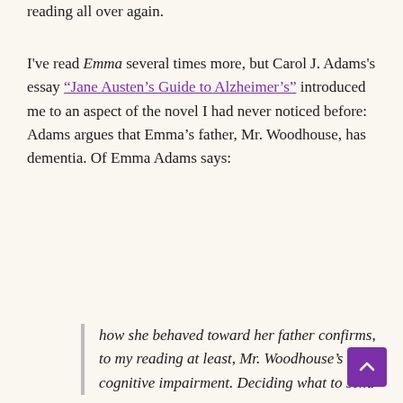reading all over again.
I've read Emma several times more, but Carol J. Adams's essay “Jane Austen’s Guide to Alzheimer’s” introduced me to an aspect of the novel I had never noticed before: Adams argues that Emma’s father, Mr. Woodhouse, has dementia. Of Emma Adams says:
how she behaved toward her father confirms, to my reading at least, Mr. Woodhouse’s cognitive impairment. Deciding what to send